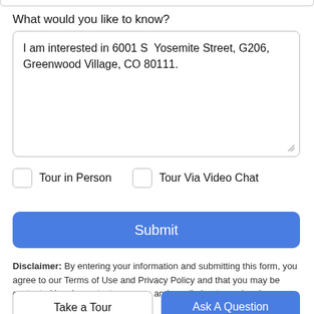What would you like to know?
I am interested in 6001 S  Yosemite Street, G206, Greenwood Village, CO 80111.
Tour in Person
Tour Via Video Chat
Submit
Disclaimer: By entering your information and submitting this form, you agree to our Terms of Use and Privacy Policy and that you may be contacted by phone, text message and email about your inquiry.
Take a Tour
Ask A Question